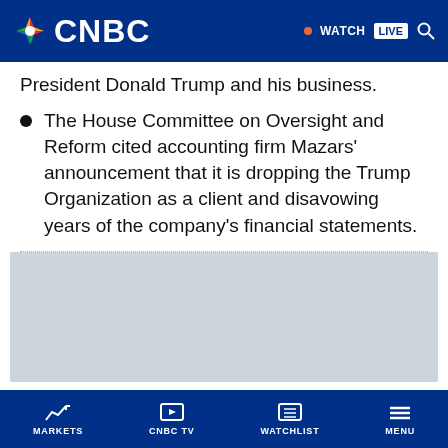CNBC — WATCH LIVE
President Donald Trump and his business.
The House Committee on Oversight and Reform cited accounting firm Mazars' announcement that it is dropping the Trump Organization as a client and disavowing years of the company's financial statements.
[Figure (other): Gray placeholder box for an embedded media element]
MARKETS | CNBC TV | WATCHLIST | MENU